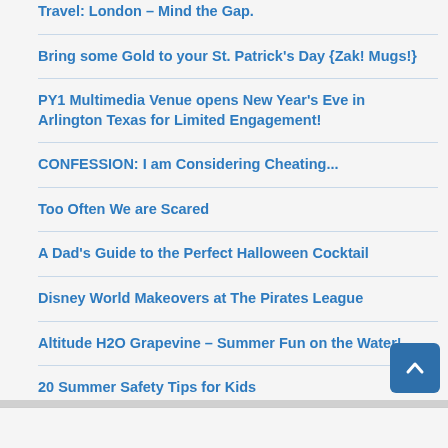Travel: London – Mind the Gap.
Bring some Gold to your St. Patrick's Day {Zak! Mugs!}
PY1 Multimedia Venue opens New Year's Eve in Arlington Texas for Limited Engagement!
CONFESSION: I am Considering Cheating...
Too Often We are Scared
A Dad's Guide to the Perfect Halloween Cocktail
Disney World Makeovers at The Pirates League
Altitude H2O Grapevine – Summer Fun on the Water!
20 Summer Safety Tips for Kids